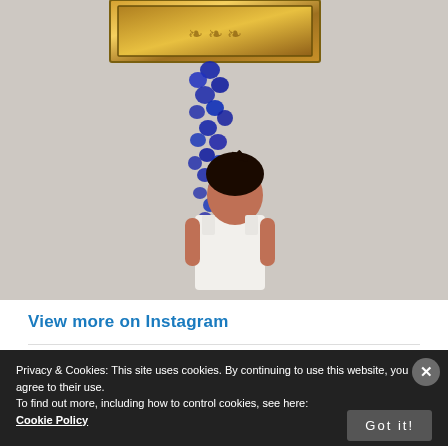[Figure (photo): A young child viewed from behind, wearing a white sleeveless shirt, looking up at a gold ornate picture frame mounted on a light wall, with blue flowers cascading down from the frame]
View more on Instagram
Privacy & Cookies: This site uses cookies. By continuing to use this website, you agree to their use. To find out more, including how to control cookies, see here: Cookie Policy
Got it!